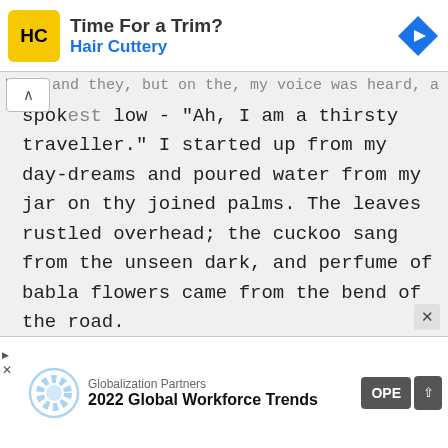[Figure (other): Hair Cuttery advertisement banner with yellow HC logo, text 'Time For a Trim?' and 'Hair Cuttery' in blue, and a blue diamond arrow icon on the right]
spok est low - "Ah, I am a thirsty traveller." I started up from my day-dreams and poured water from my jar on thy joined palms. The leaves rustled overhead; the cuckoo sang from the unseen dark, and perfume of babla flowers came from the bend of the road.
[Figure (other): Globalization Partners advertisement banner with circular logo, text '2022 Global Workforce Trends', and an OPEN button]